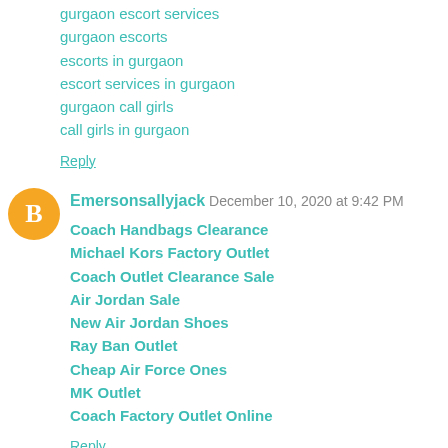gurgaon escort services
gurgaon escorts
escorts in gurgaon
escort services in gurgaon
gurgaon call girls
call girls in gurgaon
Reply
Emersonsallyjack  December 10, 2020 at 9:42 PM
Coach Handbags Clearance
Michael Kors Factory Outlet
Coach Outlet Clearance Sale
Air Jordan Sale
New Air Jordan Shoes
Ray Ban Outlet
Cheap Air Force Ones
MK Outlet
Coach Factory Outlet Online
Reply